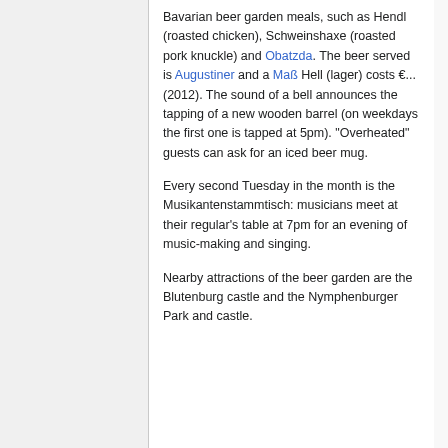Bavarian beer garden meals, such as Hendl (roasted chicken), Schweinshaxe (roasted pork knuckle) and Obatzda. The beer served is Augustiner and a Maß Hell (lager) costs €... (2012). The sound of a bell announces the tapping of a new wooden barrel (on weekdays the first one is tapped at 5pm). "Overheated" guests can ask for an iced beer mug.
Every second Tuesday in the month is the Musikantenstammtisch: musicians meet at their regular's table at 7pm for an evening of music-making and singing.
Nearby attractions of the beer garden are the Blutenburg castle and the Nymphenburger Park and castle.